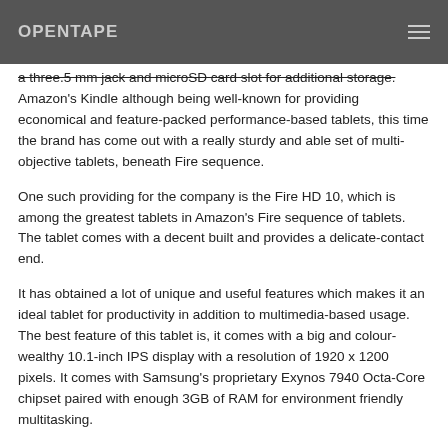OPENTAPE
a three.5 mm jack and microSD card slot for additional storage. Amazon's Kindle although being well-known for providing economical and feature-packed performance-based tablets, this time the brand has come out with a really sturdy and able set of multi-objective tablets, beneath Fire sequence.
One such providing for the company is the Fire HD 10, which is among the greatest tablets in Amazon's Fire sequence of tablets. The tablet comes with a decent built and provides a delicate-contact end.
It has obtained a lot of unique and useful features which makes it an ideal tablet for productivity in addition to multimedia-based usage. The best feature of this tablet is, it comes with a big and colour-wealthy 10.1-inch IPS display with a resolution of 1920 x 1200 pixels. It comes with Samsung's proprietary Exynos 7940 Octa-Core chipset paired with enough 3GB of RAM for environment friendly multitasking.
The tablet has nice ergonomics and comes with very pleasing